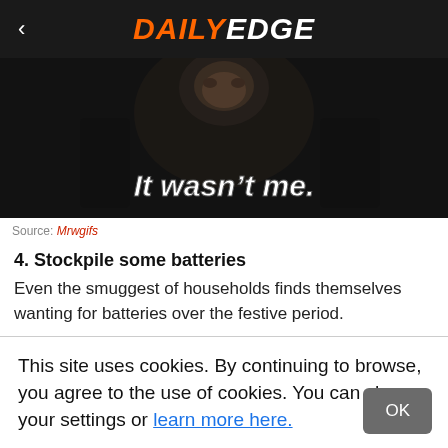DAILY EDGE
[Figure (screenshot): Dark video still of a person with text overlay reading 'It wasn't me.']
Source: Mrwgifs
4. Stockpile some batteries
Even the smuggest of households finds themselves wanting for batteries over the festive period.
This site uses cookies. By continuing to browse, you agree to the use of cookies. You can change your settings or learn more here.